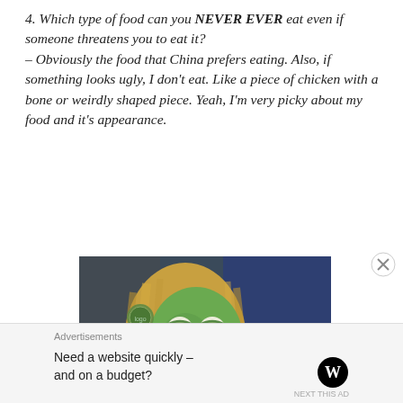4. Which type of food can you NEVER EVER eat even if someone threatens you to eat it? – Obviously the food that China prefers eating. Also, if something looks ugly, I don't eat. Like a piece of chicken with a bone or weirdly shaped piece. Yeah, I'm very picky about my food and it's appearance.
[Figure (photo): A green puppet/muppet character with long blonde hair and expressive eyes, appearing to make a disgusted or picky face, with a dark blue/purple background]
Advertisements
Need a website quickly – and on a budget?